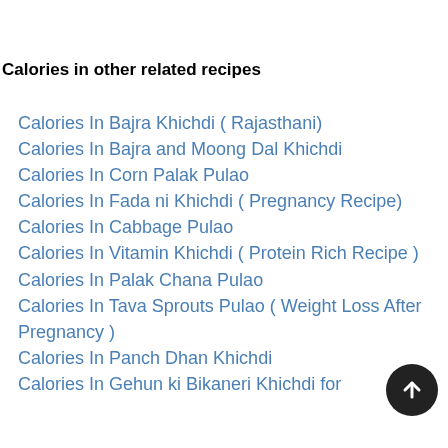Calories in other related recipes
Calories In Bajra Khichdi ( Rajasthani)
Calories In Bajra and Moong Dal Khichdi
Calories In Corn Palak Pulao
Calories In Fada ni Khichdi ( Pregnancy Recipe)
Calories In Cabbage Pulao
Calories In Vitamin Khichdi ( Protein Rich Recipe )
Calories In Palak Chana Pulao
Calories In Tava Sprouts Pulao ( Weight Loss After Pregnancy )
Calories In Panch Dhan Khichdi
Calories In Gehun ki Bikaneri Khichdi for